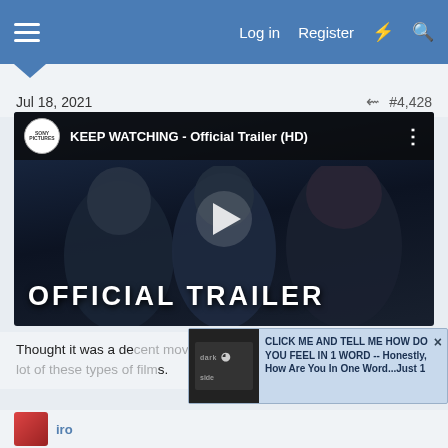Log in   Register
Jul 18, 2021   #4,428
[Figure (screenshot): YouTube video thumbnail for 'KEEP WATCHING - Official Trailer (HD)' showing three teenagers in a dark car interior, with large text 'OFFICIAL TRAILER' at the bottom. Sony Pictures logo in top left.]
Thought it was a decent movie. Thorne sees to be in it a lot of these types of films.
[Figure (screenshot): Ad overlay: 'dark side' logo on left, text 'CLICK ME AND TELL ME HOW DO YOU FEEL IN 1 WORD -- Honestly, How Are You In One Word...Just 1' on right, with X close button.]